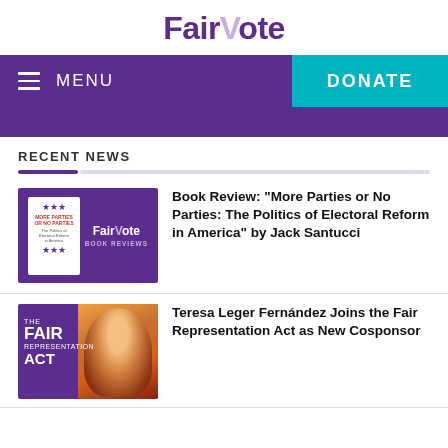[Figure (logo): FairVote logo with stylized V in light purple]
MENU   DONATE
RECENT NEWS
[Figure (photo): FairVote Book Reviews thumbnail showing book cover for More Parties or No Parties on purple background]
Book Review: “More Parties or No Parties: The Politics of Electoral Reform in America” by Jack Santucci
[Figure (photo): The Fair Representation Act banner with photo of Teresa Leger Fernandez on purple and orange background]
Teresa Leger Fernández Joins the Fair Representation Act as New Cosponsor